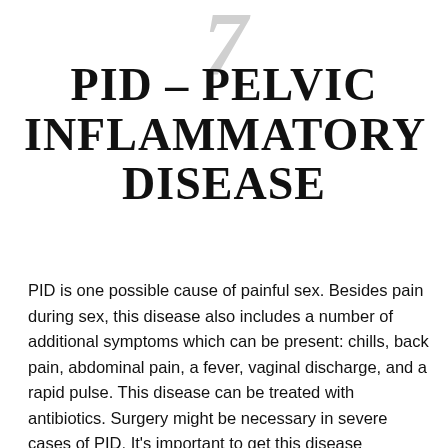[Figure (other): Large decorative chapter number '7' in light gray italic serif font at the top center of the page]
PID – PELVIC INFLAMMATORY DISEASE
PID is one possible cause of painful sex. Besides pain during sex, this disease also includes a number of additional symptoms which can be present: chills, back pain, abdominal pain, a fever, vaginal discharge, and a rapid pulse. This disease can be treated with antibiotics. Surgery might be necessary in severe cases of PID. It's important to get this disease diagnosed as soon as possible so as to eliminate the chance of any damage occurring to your reproductive system. PID can be transmitted sexually.